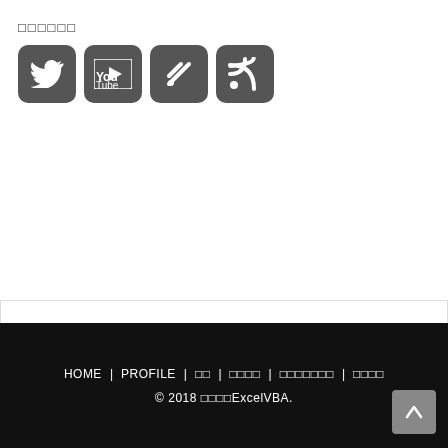□□□□□□
[Figure (screenshot): Four social media icon buttons: Twitter, YouTube, Feedly, RSS feed — dark gray rounded square icons]
[Figure (screenshot): Search widget with placeholder text (□□□□) and a magnifying glass icon, inside a white bordered box]
HOME | PROFILE | □□ | □□□□ | □□□□□□□ | □□□□ © 2018 □□□□ExcelVBA.